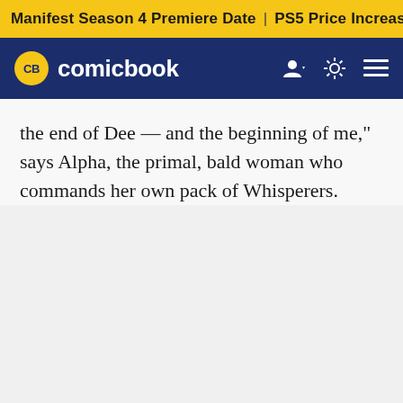Manifest Season 4 Premiere Date | PS5 Price Increase | Jon M
[Figure (logo): ComicBook.com navigation bar with CB logo badge and site name 'comicbook', along with user icon, theme toggle, and hamburger menu icons]
the end of Dee — and the beginning of me," says Alpha, the primal, bald woman who commands her own pack of Whisperers.